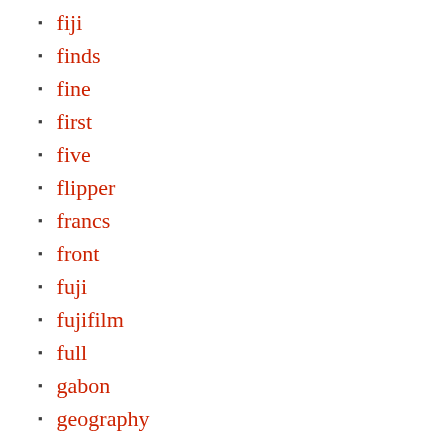fiji
finds
fine
first
five
flipper
francs
front
fuji
fujifilm
full
gabon
geography